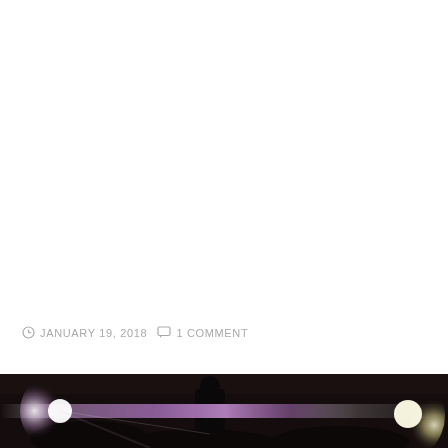JANUARY 19, 2018   1 COMMENT
[Figure (photo): Concert/event photo showing a performer on stage with bright stage lighting including a purple/pink lens flare effect against a dark crowd background]